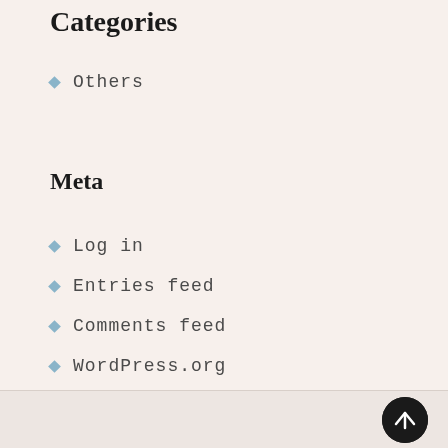Categories
Others
Meta
Log in
Entries feed
Comments feed
WordPress.org
[Figure (illustration): Back-to-top button: dark circular button with white upward arrow, positioned in lower-right corner of the footer strip]